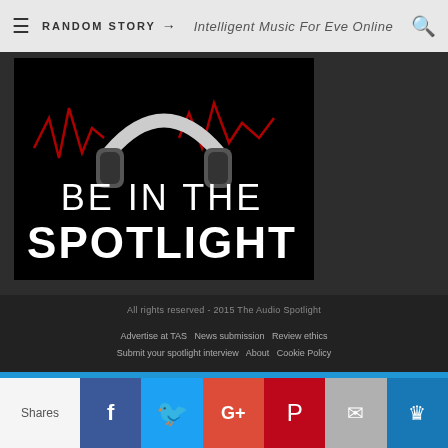RANDOM STORY → Intelligent Music For Eve Online
[Figure (illustration): Black background promotional image with a headphones/audio waveform logo at top, red lightning/waveform graphics, and large white text reading 'BE IN THE SPOTLIGHT']
All rights reserved - 2015 The Audio Spotlight
Advertise at TAS  News submission  Review ethics  Submit your spotlight interview  About  Cookie Policy
Shares